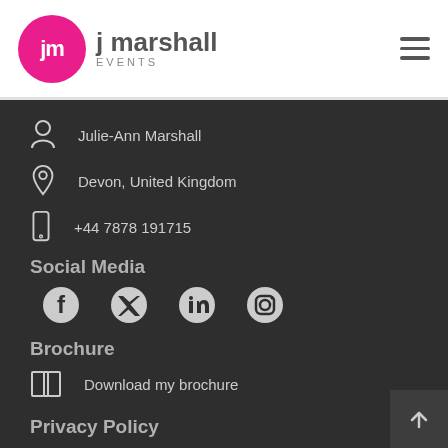[Figure (logo): J Marshall Events logo — pink circle with 'jm' text, brand name 'j marshall EVENTS']
Julie-Ann Marshall
Devon, United Kingdom
+44 7878 191715
Social Media
[Figure (illustration): Social media icons: Facebook, Twitter, LinkedIn, Instagram]
Brochure
Download my brochure
Privacy Policy